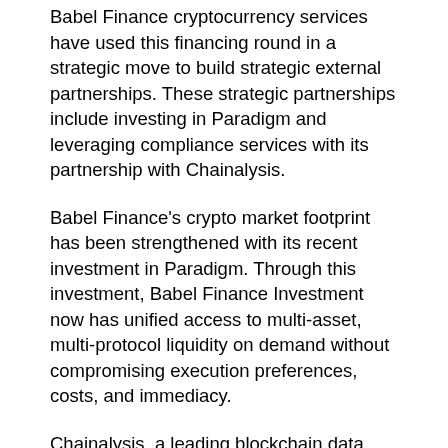Babel Finance cryptocurrency services have used this financing round in a strategic move to build strategic external partnerships. These strategic partnerships include investing in Paradigm and leveraging compliance services with its partnership with Chainalysis.
Babel Finance's crypto market footprint has been strengthened with its recent investment in Paradigm. Through this investment, Babel Finance Investment now has unified access to multi-asset, multi-protocol liquidity on demand without compromising execution preferences, costs, and immediacy.
Chainalysis, a leading blockchain data platform, will provide Babel Finance with its KYT (Know Your Transaction) and Reactor services. This will allow Babel Finance to have a real-time transaction monitoring solution providing better to their compliance…